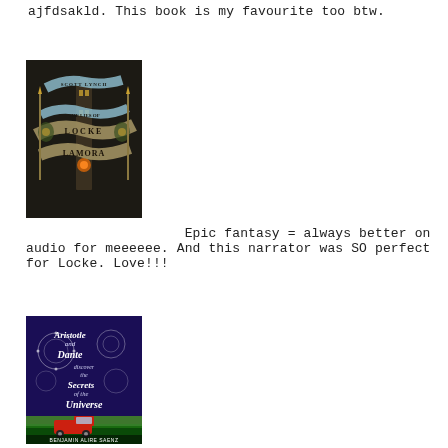ajfdsakld. This book is my favourite too btw.
[Figure (illustration): Book cover of 'The Lies of Locke Lamora' by Scott Lynch — dark background with a tower and decorative ribbon/banner lettering in gold and teal tones.]
Epic fantasy = always better on audio for meeeeee. And this narrator was SO perfect for Locke. Love!!!
[Figure (illustration): Book cover of 'Aristotle and Dante Discover the Secrets of the Universe' by Benjamin Alire Saenz — deep purple/blue background with ornate white text and decorative circular patterns, red truck at the bottom.]